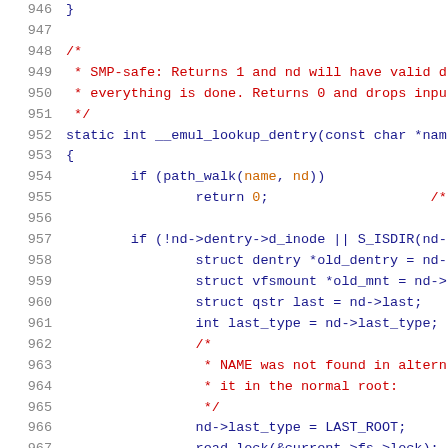Source code listing lines 946-967, C language kernel code showing __emul_lookup_dentry function